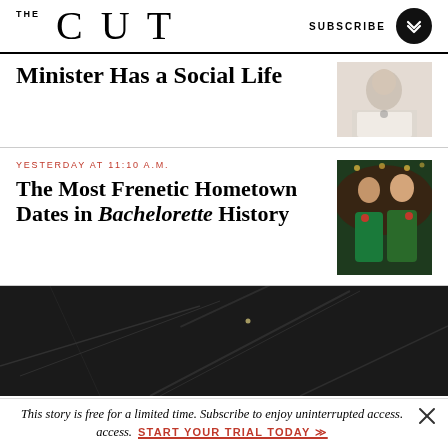THE CUT | SUBSCRIBE
Minister Has a Social Life
YESTERDAY AT 11:10 A.M.
The Most Frenetic Hometown Dates in Bachelorette History
[Figure (photo): Dark marble texture background photo]
This story is free for a limited time. Subscribe to enjoy uninterrupted access. START YOUR TRIAL TODAY »